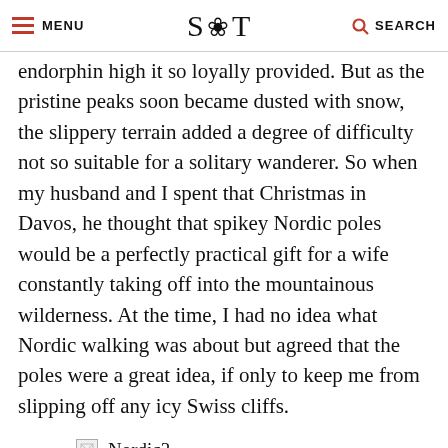MENU | S T | SEARCH
endorphin high it so loyally provided. But as the pristine peaks soon became dusted with snow, the slippery terrain added a degree of difficulty not so suitable for a solitary wanderer. So when my husband and I spent that Christmas in Davos, he thought that spikey Nordic poles would be a perfectly practical gift for a wife constantly taking off into the mountainous wilderness. At the time, I had no idea what Nordic walking was about but agreed that the poles were a great idea, if only to keep me from slipping off any icy Swiss cliffs.
[Figure (photo): Broken image placeholder labeled Nordic3]